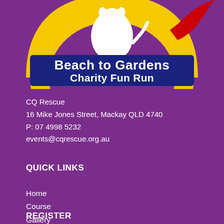[Figure (logo): Beach to Gardens Charity Fun Run logo with yellow arch, white dog silhouette, red decorative element, and bold white text on dark blue background reading 'Beach to Gardens Charity Fun Run']
CQ Rescue
16 Mike Jones Street, Mackay QLD 4740
P: 07 4998 5232
events@cqrescue.org.au
QUICK LINKS
Home
Course
Gallery
FAQ's
Contact
REGISTER